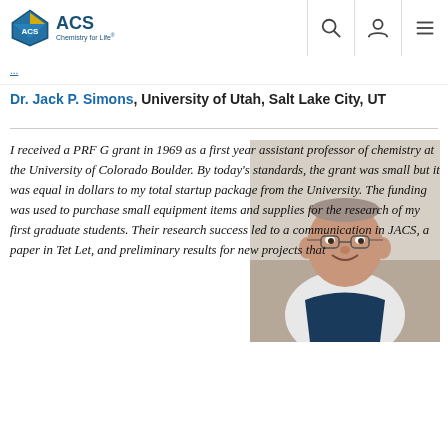ACS Chemistry for Life
Dr. Jack P. Simons, University of Utah, Salt Lake City, UT
[Figure (photo): Portrait photo of Dr. Jack P. Simons, an elderly man smiling, wearing glasses and a dark navy vest over a white shirt, seated on a couch.]
I received a PRF G grant in 1969 as a first year assistant professor of chemistry at the University of Colorado Boulder.  By today's standards, the grant was small but it was equal in dollars to my total startup package from the University.  The funding was used to purchase small equipment items and supplies for the research of my first graduate students.  Their research success led to a communication in JACS, a paper in Tet Let, and preliminary results for new projects that